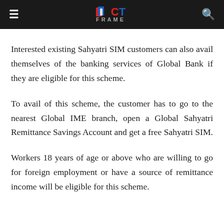ICT FRAME
Interested existing Sahyatri SIM customers can also avail themselves of the banking services of Global Bank if they are eligible for this scheme.
To avail of this scheme, the customer has to go to the nearest Global IME branch, open a Global Sahyatri Remittance Savings Account and get a free Sahyatri SIM.
Workers 18 years of age or above who are willing to go for foreign employment or have a source of remittance income will be eligible for this scheme.